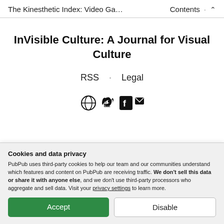The Kinesthetic Index: Video Ga…   Contents  ˄
InVisible Culture: A Journal for Visual Culture
RSS · Legal
[Figure (infographic): Row of social/share icons: globe, Twitter bird, Facebook f, envelope/email]
[Figure (illustration): Partially visible banner with InVisible Culture logo text]
Cookies and data privacy

PubPub uses third-party cookies to help our team and our communities understand which features and content on PubPub are receiving traffic. We don't sell this data or share it with anyone else, and we don't use third-party processors who aggregate and sell data. Visit your privacy settings to learn more.

[Accept] [Disable]